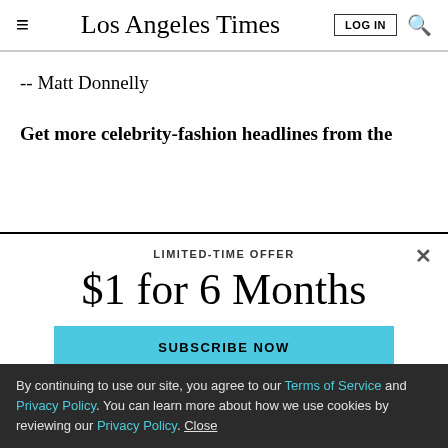Los Angeles Times
-- Matt Donnelly
Get more celebrity-fashion headlines from the
LIMITED-TIME OFFER
$1 for 6 Months
SUBSCRIBE NOW
By continuing to use our site, you agree to our Terms of Service and Privacy Policy. You can learn more about how we use cookies by reviewing our Privacy Policy. Close